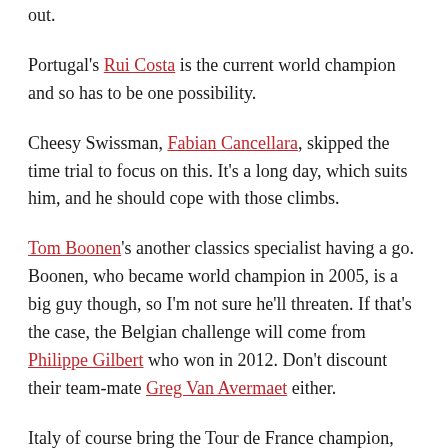out.
Portugal's Rui Costa is the current world champion and so has to be one possibility.
Cheesy Swissman, Fabian Cancellara, skipped the time trial to focus on this. It's a long day, which suits him, and he should cope with those climbs.
Tom Boonen's another classics specialist having a go. Boonen, who became world champion in 2005, is a big guy though, so I'm not sure he'll threaten. If that's the case, the Belgian challenge will come from Philippe Gilbert who won in 2012. Don't discount their team-mate Greg Van Avermaet either.
Italy of course bring the Tour de France champion, Vincenzo Nibali. He'd probably prefer a harder course though and the same's true of the Spaniards, Alejandro Valverde and Joaquim Rodriguez. Those